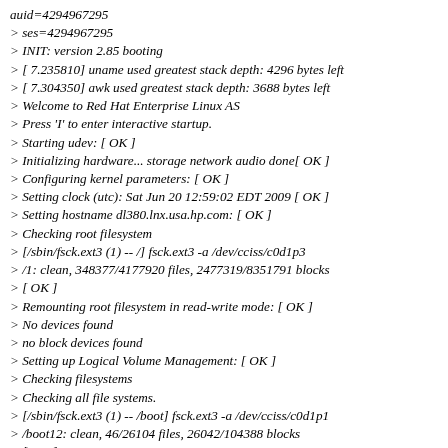auid=4294967295
> ses=4294967295
> INIT: version 2.85 booting
> [ 7.235810] uname used greatest stack depth: 4296 bytes left
> [ 7.304350] awk used greatest stack depth: 3688 bytes left
> Welcome to Red Hat Enterprise Linux AS
> Press 'I' to enter interactive startup.
> Starting udev: [ OK ]
> Initializing hardware... storage network audio done[ OK ]
> Configuring kernel parameters: [ OK ]
> Setting clock (utc): Sat Jun 20 12:59:02 EDT 2009 [ OK ]
> Setting hostname dl380.lnx.usa.hp.com: [ OK ]
> Checking root filesystem
> [/sbin/fsck.ext3 (1) -- /] fsck.ext3 -a /dev/cciss/c0d1p3
> /1: clean, 348377/4177920 files, 2477319/8351791 blocks
> [ OK ]
> Remounting root filesystem in read-write mode: [ OK ]
> No devices found
> no block devices found
> Setting up Logical Volume Management: [ OK ]
> Checking filesystems
> Checking all file systems.
> [/sbin/fsck.ext3 (1) -- /boot] fsck.ext3 -a /dev/cciss/c0d1p1
> /boot12: clean, 46/26104 files, 26042/104388 blocks
> [ OK ]